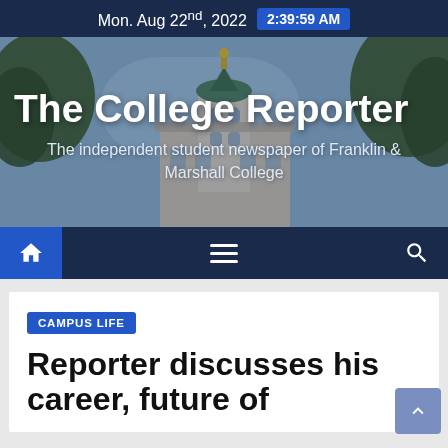Mon. Aug 22nd, 2022  2:39:59 AM
[Figure (photo): The College Reporter banner with a photo of a college building (church/chapel with tower) visible through trees, blue sky background. Title 'The College Reporter' and subtitle 'The independent student newspaper of Franklin & Marshall College' overlaid in white text.]
The College Reporter
The independent student newspaper of Franklin & Marshall College
CAMPUS LIFE
Reporter discusses his career, future of